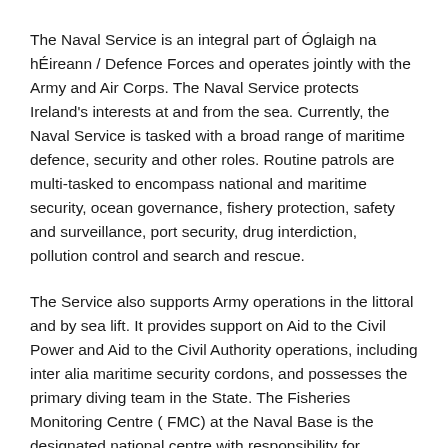The Naval Service is an integral part of Óglaigh na hÉireann / Defence Forces and operates jointly with the Army and Air Corps. The Naval Service protects Ireland's interests at and from the sea. Currently, the Naval Service is tasked with a broad range of maritime defence, security and other roles. Routine patrols are multi-tasked to encompass national and maritime security, ocean governance, fishery protection, safety and surveillance, port security, drug interdiction, pollution control and search and rescue.
The Service also supports Army operations in the littoral and by sea lift. It provides support on Aid to the Civil Power and Aid to the Civil Authority operations, including inter alia maritime security cordons, and possesses the primary diving team in the State. The Fisheries Monitoring Centre ( FMC) at the Naval Base is the designated national centre with responsibility for monitoring all fishing activity within the Irish Exclusive Fishery Limits and all Irish fishing vessels operating around the world. In